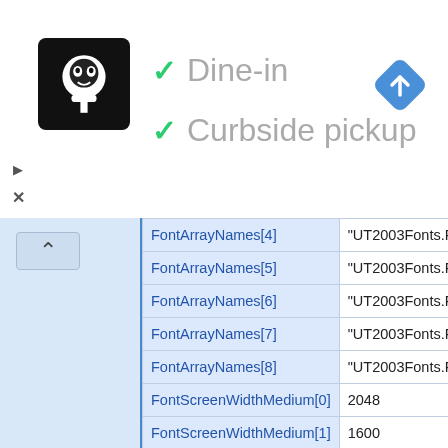[Figure (screenshot): Restaurant listing screenshot showing Dine-in and Curbside pickup checkmarks, a logo, and navigation icon]
| Property | Value |
| --- | --- |
| FontArrayNames[4] | "UT2003Fonts.Font... |
| FontArrayNames[5] | "UT2003Fonts.Font... |
| FontArrayNames[6] | "UT2003Fonts.Font... |
| FontArrayNames[7] | "UT2003Fonts.Font... |
| FontArrayNames[8] | "UT2003Fonts.Font... |
| FontScreenWidthMedium[0] | 2048 |
| FontScreenWidthMedium[1] | 1600 |
| FontScreenWidthMedium[2] | 1280 |
| FontScreenWidthMedium[3] | 1024 |
| FontScreenWidthMedium[4] | 800 |
| FontScreenWidthMedium[5] | 640 |
| FontScreenWidthMedium[6] | 512 |
| FontScreenWidthMedium[7] | 400 |
| FontScreenWidthMedium[8] | 320 |
| FontScreenWidthSmall[0] | 4096 |